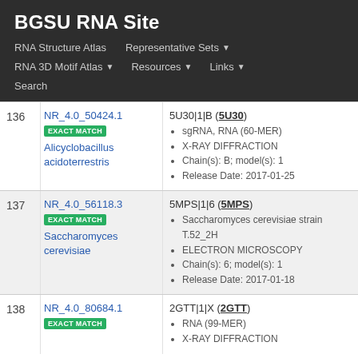BGSU RNA Site
RNA Structure Atlas | Representative Sets ▼ | RNA 3D Motif Atlas ▼ | Resources ▼ | Links ▼ | Search
| # | ID / Match / Organism | Entry Details |
| --- | --- | --- |
| 136 | NR_4.0_50424.1
EXACT MATCH
Alicyclobacillus acidoterrestris | 5U30|1|B (5U30)
• sgRNA, RNA (60-MER)
• X-RAY DIFFRACTION
• Chain(s): B; model(s): 1
• Release Date: 2017-01-25 |
| 137 | NR_4.0_56118.3
EXACT MATCH
Saccharomyces cerevisiae | 5MPS|1|6 (5MPS)
• Saccharomyces cerevisiae strain T.52_2H
• ELECTRON MICROSCOPY
• Chain(s): 6; model(s): 1
• Release Date: 2017-01-18 |
| 138 | NR_4.0_80684.1
EXACT MATCH | 2GTT|1|X (2GTT)
• RNA (99-MER)
• X-RAY DIFFRACTION |